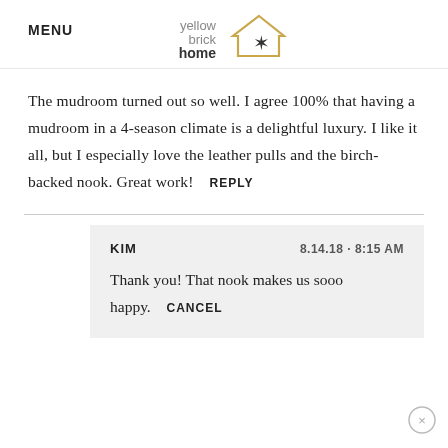MENU
[Figure (logo): Yellow Brick Home logo: text 'yellow brick home' with a house outline containing a star]
The mudroom turned out so well. I agree 100% that having a mudroom in a 4-season climate is a delightful luxury. I like it all, but I especially love the leather pulls and the birch-backed nook. Great work!  REPLY
KIM   8.14.18 · 8:15 AM
Thank you! That nook makes us sooo happy.  CANCEL